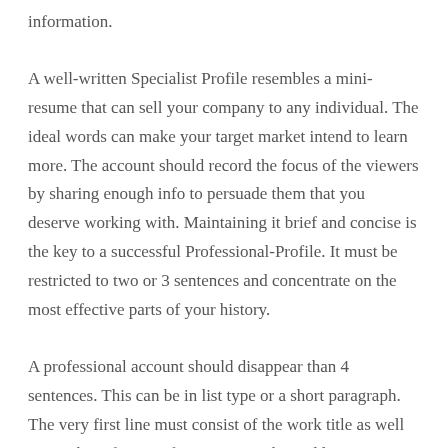information.
A well-written Specialist Profile resembles a mini-resume that can sell your company to any individual. The ideal words can make your target market intend to learn more. The account should record the focus of the viewers by sharing enough info to persuade them that you deserve working with. Maintaining it brief and concise is the key to a successful Professional-Profile. It must be restricted to two or 3 sentences and concentrate on the most effective parts of your history.
A professional account should disappear than 4 sentences. This can be in list type or a short paragraph. The very first line must consist of the work title as well as number of years of experience. The 2nd line